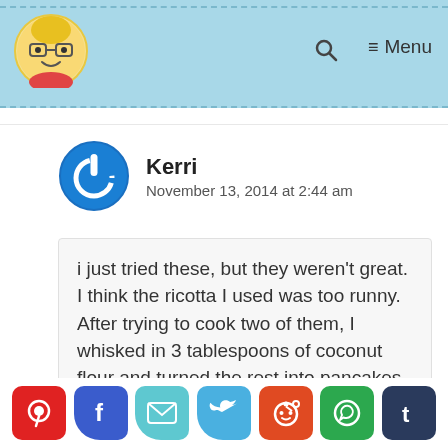Kerri's blog header with logo, search icon, and Menu
[Figure (illustration): Cartoon girl avatar with blonde hair and glasses in circle, blue power/on button icon for user avatar]
Kerri
November 13, 2014 at 2:44 am
i just tried these, but they weren't great. I think the ricotta I used was too runny. After trying to cook two of them, I whisked in 3 tablespoons of coconut flour and turned the rest into pancakes.
[Figure (infographic): Social share buttons row: Pinterest, Facebook, Email, Twitter, Reddit, WhatsApp, Tumblr]